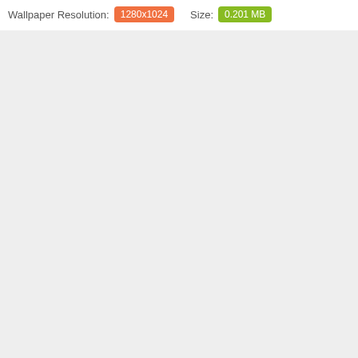Wallpaper Resolution: 1280x1024   Size: 0.201 MB